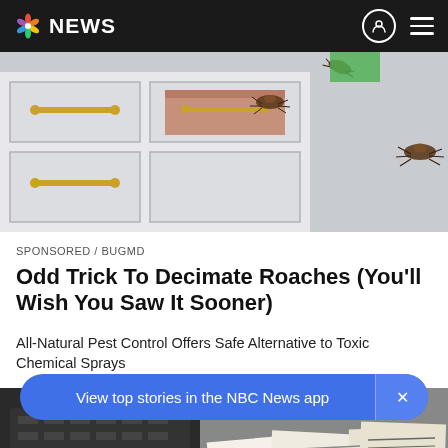NBC NEWS
[Figure (illustration): Illustration of kitchen drawers/cabinets with cockroaches crawling on them. Gold drawer handles visible, drawers in white and tan colors, cockroaches on the right side.]
SPONSORED / BUGMD
Odd Trick To Decimate Roaches (You'll Wish You Saw It Sooner)
All-Natural Pest Control Offers Safe Alternative to Toxic Chemical Sprays
[Figure (photo): Photo showing papers, documents, possibly money or financial documents spread on a surface.]
View top stories in the NBC News app  ×